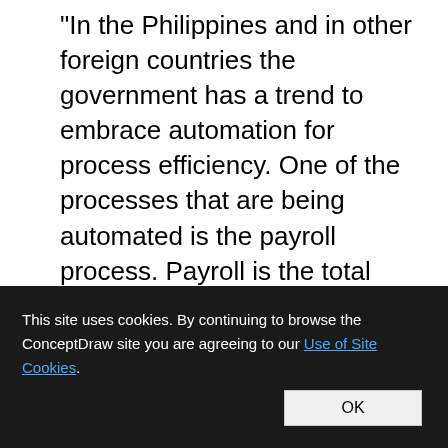"In the Philippines and in other foreign countries the government has a trend to embrace automation for process efficiency. One of the processes that are being automated is the payroll process. Payroll is the total amount required to pay workers and employees during a week, month or other period.
One of the government offices that desires to automate their payroll system is the NSO Camarines Sur which is located 2nd Floor
This site uses cookies. By continuing to browse the ConceptDraw site you are agreeing to our Use of Site Cookies.